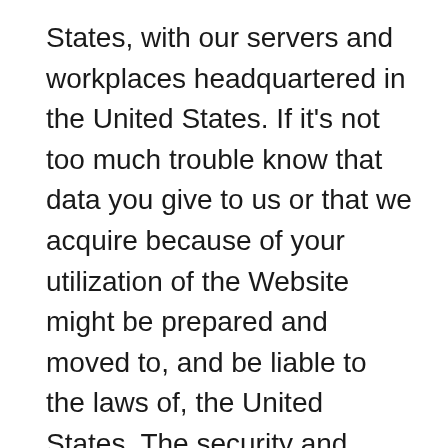States, with our servers and workplaces headquartered in the United States. If it's not too much trouble know that data you give to us or that we acquire because of your utilization of the Website might be prepared and moved to, and be liable to the laws of, the United States. The security and information assurance laws in the United States may not be proportional to comparative laws in your nation of home. By utilizing the Website or by furnishing us with your data, you agree to the gathering, move, stockpiling and handling of data to and inside the United States. In the event that our treats or other programming identifies IP tends to situated in a nation outside the United States, we maintain whatever